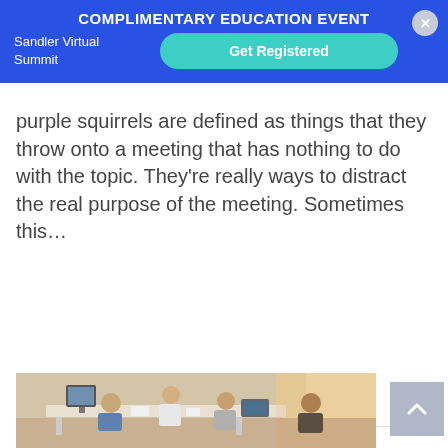COMPLIMENTARY EDUCATION EVENT
Sandler Virtual Summit
Get Registered
purple squirrels are defined as things that they throw onto a meeting that has nothing to do with the topic. They're really ways to distract the real purpose of the meeting. Sometimes this…
Read More
[Figure (photo): Office meeting scene with several people sitting around a white table with computers and documents, in a bright open workspace.]